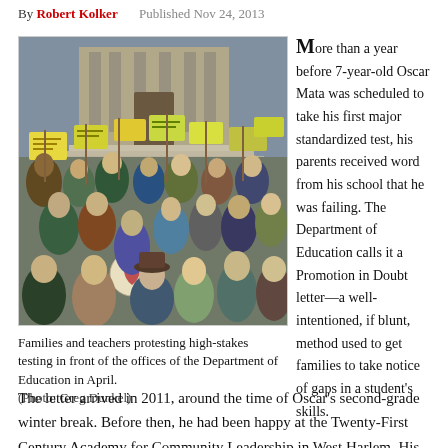By Robert Kolker   Published Nov 24, 2013
[Figure (photo): Crowd of families and teachers holding protest signs outside the Department of Education offices]
Families and teachers protesting high-stakes testing in front of the offices of the Department of Education in April.
(Photo: Greg Dunkel)
More than a year before 7-year-old Oscar Mata was scheduled to take his first major standardized test, his parents received word from his school that he was failing. The Department of Education calls it a Promotion in Doubt letter—a well-intentioned, if blunt, method used to get families to take notice of gaps in a student's skills.
The letter arrived in 2011, around the time of Oscar's second-grade winter break. Before then, he had been happy at the Twenty-First Century Academy for Community Leadership in West Harlem. His parents, Andrea and Juan, had been drawn to the dual-language school